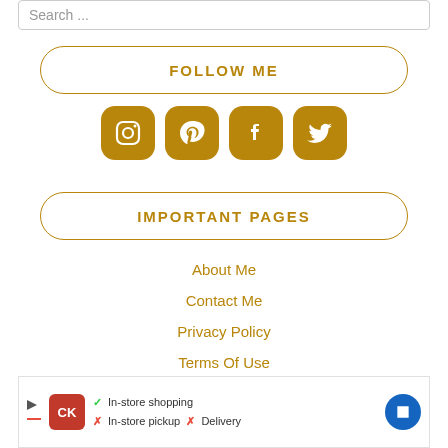Search ...
FOLLOW ME
[Figure (infographic): Four social media icons: Instagram, Pinterest, Facebook, Twitter — gold rounded square buttons]
IMPORTANT PAGES
About Me
Contact Me
Privacy Policy
Terms Of Use
[Figure (infographic): Advertisement banner with logo, in-store shopping checkmarks, and navigation icon]